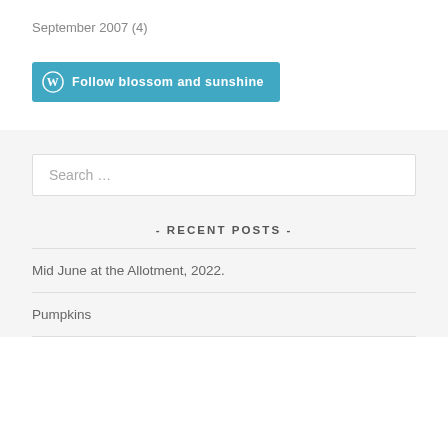September 2007 (4)
[Figure (other): WordPress Follow button: Follow blossom and sunshine]
- RECENT POSTS -
Search …
Mid June at the Allotment, 2022.
Pumpkins